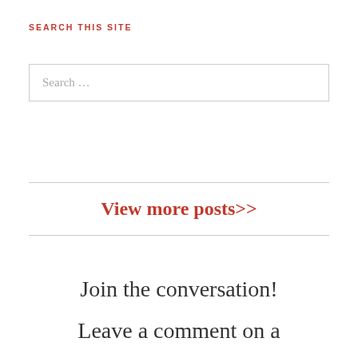SEARCH THIS SITE
Search …
View more posts>>
Join the conversation!
Leave a comment on a